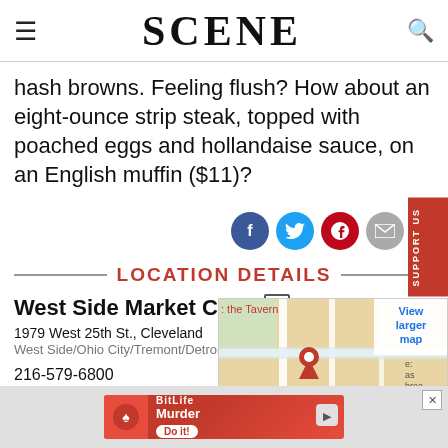SCENE
hash browns. Feeling flush? How about an eight-ounce strip steak, topped with poached eggs and hollandaise sauce, on an English muffin ($11)?
LOCATION DETAILS
West Side Market Café
1979 West 25th St., Cleveland
West Side/Ohio City/Tremont/Detroit Shoreway
216-579-6800
2 articles
[Figure (map): Google map thumbnail showing location of West Side Market Café in Cleveland with a red pin marker, View larger map link, and Google logo]
[Figure (other): BitLife Murder advertisement banner at bottom of page]